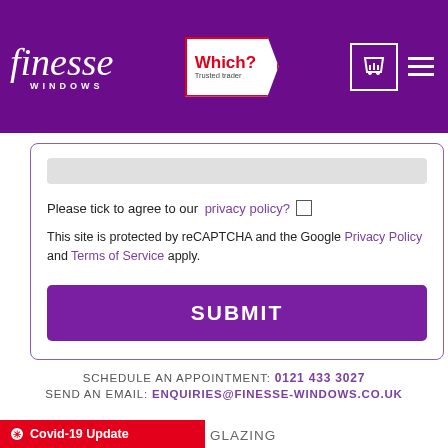Finesse Windows header with logo, Which? Trusted Trader badge, cart icon and menu
Please tick to agree to our privacy policy?
This site is protected by reCAPTCHA and the Google Privacy Policy and Terms of Service apply.
SUBMIT
SCHEDULE AN APPOINTMENT: 0121 433 3027
SEND AN EMAIL: ENQUIRIES@FINESSE-WINDOWS.CO.UK
Covid-19 Update
GLAZING